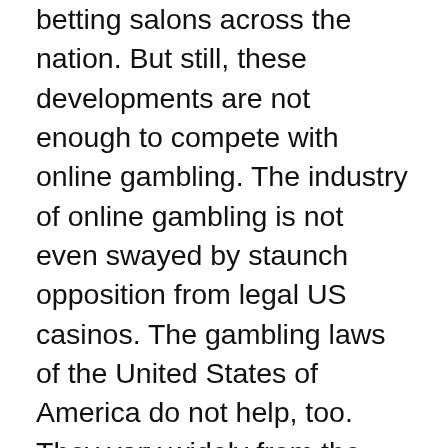betting salons across the nation. But still, these developments are not enough to compete with online gambling. The industry of online gambling is not even swayed by staunch opposition from legal US casinos. The gambling laws of the United States of America do not help, too. They vary widely from the different states. Most states ban all forms of gambling while some make exceptions. Inconsistencies like these make it easy for online operators to find and use loopholes in the law. The American Gaming Association maintains a defensive stand regarding online gambling. The association pushes for federal laws on the regulation of online gambling. According to them, the unregulated nature of the online gambling industry is its advantage over traditional gaming operations in the country.